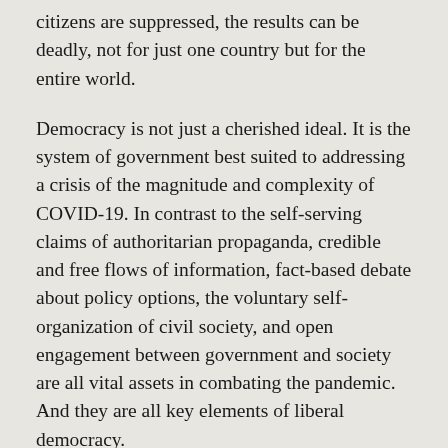citizens are suppressed, the results can be deadly, not for just one country but for the entire world.
Democracy is not just a cherished ideal. It is the system of government best suited to addressing a crisis of the magnitude and complexity of COVID-19. In contrast to the self-serving claims of authoritarian propaganda, credible and free flows of information, fact-based debate about policy options, the voluntary self-organization of civil society, and open engagement between government and society are all vital assets in combating the pandemic. And they are all key elements of liberal democracy.
It is only through democracy that societies can build the social trust that enables them to persevere in a crisis, maintain national resilience in the face of hardship, heal deep societal divisions through